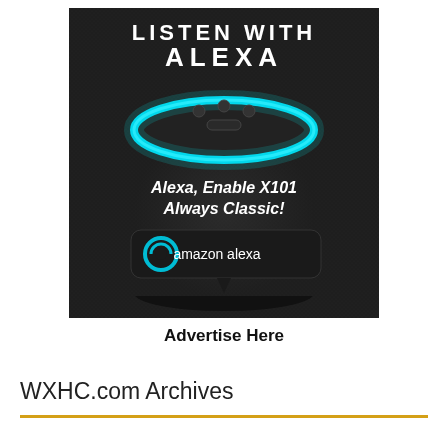[Figure (photo): Amazon Echo device (Alexa smart speaker) with cyan ring light glowing at top, on dark fabric background. White bold text at top reads 'LISTEN WITH ALEXA'. White italic text in middle reads 'Alexa, Enable X101 Always Classic!' with Amazon Alexa logo badge below.]
Advertise Here
WXHC.com Archives